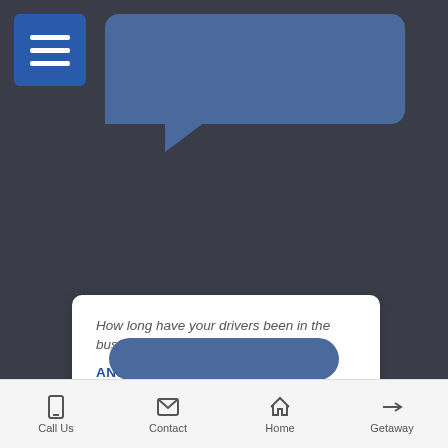[Figure (screenshot): Blue speech bubble (top) on dark background with hamburger menu button in top-left corner]
How long have your drivers been in the business?
ANSWER
Our drivers are well-seasoned and have been taking care of travelers for over 30 years. The routes for our trips are very familiar routes to our crew.
[Figure (other): Blue rounded rectangle bubble at bottom of dark area]
Call Us  Contact  Home  Getaway